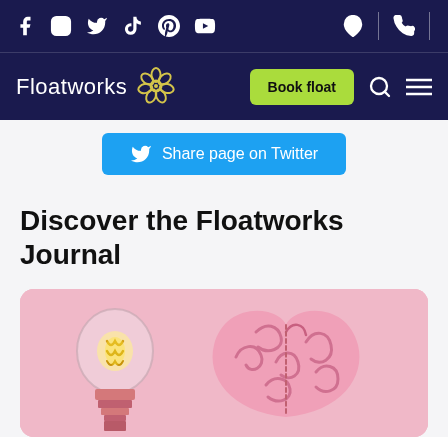Floatworks website header with social icons (Facebook, Instagram, Twitter, TikTok, Pinterest, YouTube) and navigation icons (location, phone). Navigation bar with Floatworks logo, Book float button, search and menu icons.
Share page on Twitter
Discover the Floatworks Journal
[Figure (photo): Article card with pink background showing a glowing lightbulb and a pink brain model side by side on a pink background.]